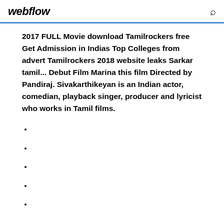webflow
2017 FULL Movie download Tamilrockers free Get Admission in Indias Top Colleges from advert Tamilrockers 2018 website leaks Sarkar tamil... Debut Film Marina this film Directed by Pandiraj. Sivakarthikeyan is an Indian actor, comedian, playback singer, producer and lyricist who works in Tamil films.